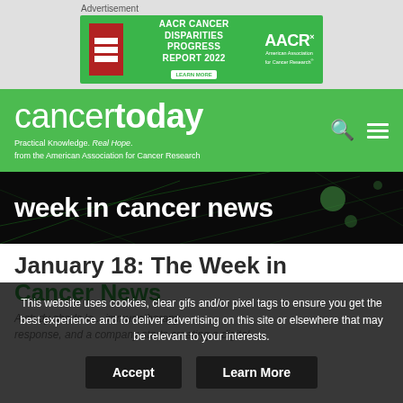[Figure (illustration): AACR Cancer Disparities Progress Report 2022 advertisement banner with green background and AACR logo]
cancer today — Practical Knowledge. Real Hope. from the American Association for Cancer Research
week in cancer news
January 18: The Week in Cancer News
A study sheds lo... immunotherapy response, and a company starts creating a digital...
This website uses cookies, clear gifs and/or pixel tags to ensure you get the best experience and to deliver advertising on this site or elsewhere that may be relevant to your interests.